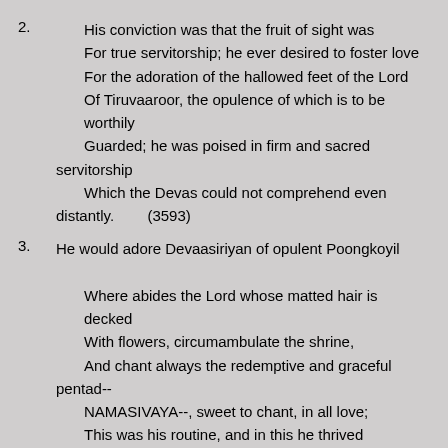2.   His conviction was that the fruit of sight was For true servitorship; he ever desired to foster love For the adoration of the hallowed feet of the Lord Of Tiruvaaroor, the opulence of which is to be worthily Guarded; he was poised in firm and sacred servitorship Which the Devas could not comprehend even distantly.        (3593)
3.   He would adore Devaasiriyan of opulent Poongkoyil Where abides the Lord whose matted hair is decked With flowers, circumambulate the shrine, And chant always the redemptive and graceful pentad-- NAMASIVAYA--, sweet to chant, in all love; This was his routine, and in this he thrived